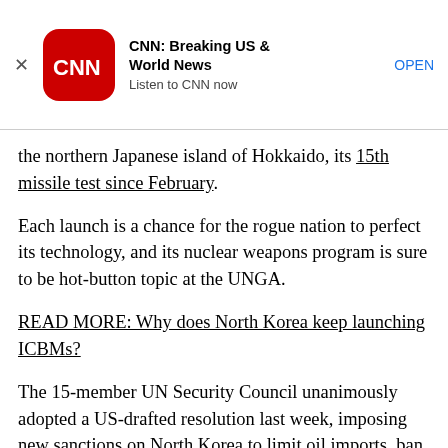[Figure (other): CNN app advertisement banner with CNN logo, title 'CNN: Breaking US & World News', subtitle 'Listen to CNN now', and an OPEN button]
the northern Japanese island of Hokkaido, its 15th missile test since February.
Each launch is a chance for the rogue nation to perfect its technology, and its nuclear weapons program is sure to be hot-button topic at the UNGA.
READ MORE: Why does North Korea keep launching ICBMs?
The 15-member UN Security Council unanimously adopted a US-drafted resolution last week, imposing new sanctions on North Korea to limit oil imports, ban textile exports, end overseas labor contracts and sanction North Korean government entities.